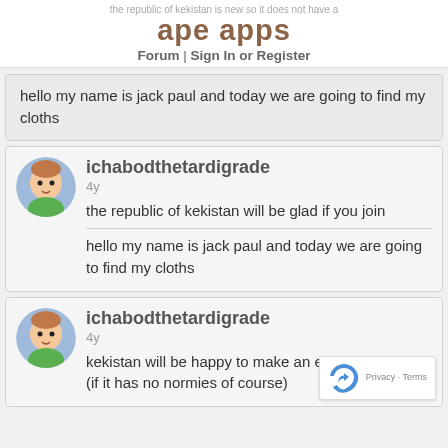the republic of kekistan is new so it does not have a [truncated]
ape apps
Forum | Sign In or Register
hello my name is jack paul and today we are going to find my cloths
ichabodthetardigrade
4y
the republic of kekistan will be glad if you join
hello my name is jack paul and today we are going to find my cloths
ichabodthetardigrade
4y
kekistan will be happy to make an embassy nation (if it has no normies of course)